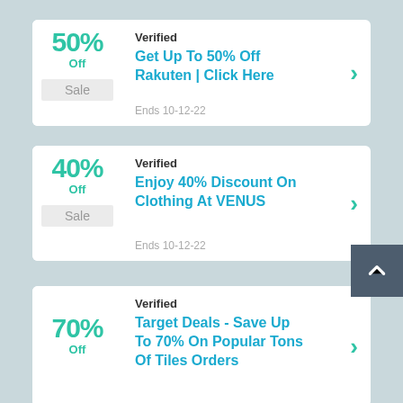[Figure (infographic): Coupon card 1: 50% Off Sale - Verified - Get Up To 50% Off Rakuten | Click Here - Ends 10-12-22]
[Figure (infographic): Coupon card 2: 40% Off Sale - Verified - Enjoy 40% Discount On Clothing At VENUS - Ends 10-12-22]
[Figure (infographic): Coupon card 3: 70% Off - Verified - Target Deals - Save Up To 70% On Popular Tons Of Tiles Orders (partial)]